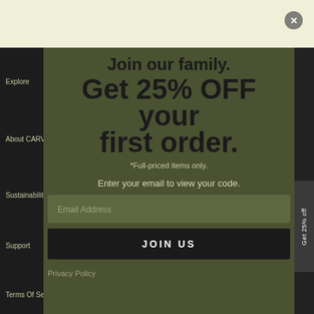Join our family.
Get 25% OFF your first order.
*Full-priced items only.
Enter your email to view your code.
Explore
About CARVE
Sustainability
Support
Terms Of Service
Shipping Policy
Return Policy
Privacy Policy
Get 25% off